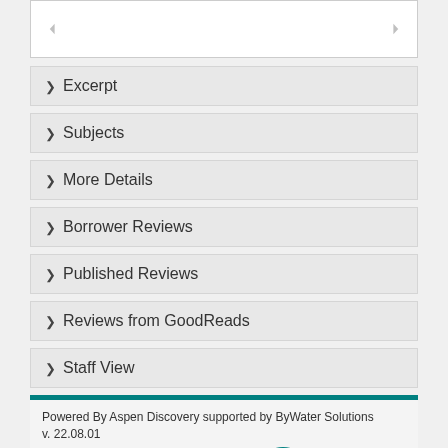[Figure (other): Top image area with left and right navigation arrows on white background]
Excerpt
Subjects
More Details
Borrower Reviews
Published Reviews
Reviews from GoodReads
Staff View
Powered By Aspen Discovery supported by ByWater Solutions
v. 22.08.01
CONNECT WITH US